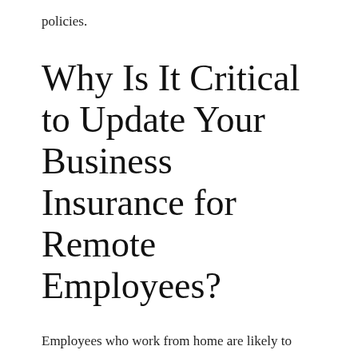policies.
Why Is It Critical to Update Your Business Insurance for Remote Employees?
Employees who work from home are likely to have homeowners insurance if they own their homes, or renters insurance if they rent. However, these types of policies are not designed to cover business needs. In fact, most homeowners policies exclude coverage for any business-related loss.